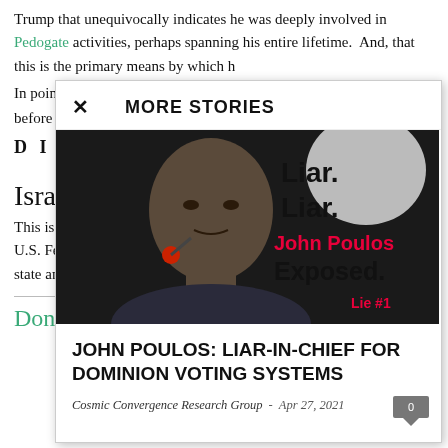Trump that unequivocally indicates he was deeply involved in Pedogate activities, perhaps spanning his entire lifetime.  And, that this is the primary means by which h[...]
In point of fact, Is[...] before in POTUS[...]
DISASTER
Israel & th[...]
This is exactly ho[...] U.S. Federal Gov[...] state and other to[...]
Dona[...]
Donald Trump Controlled By The
MORE STORIES
[Figure (photo): Photo of a man with text overlay: 'Liar. Liar. John Poulos Exposed. Lie #1' in bold black and red text on dark background]
JOHN POULOS: LIAR-IN-CHIEF FOR DOMINION VOTING SYSTEMS
Cosmic Convergence Research Group - Apr 27, 2021